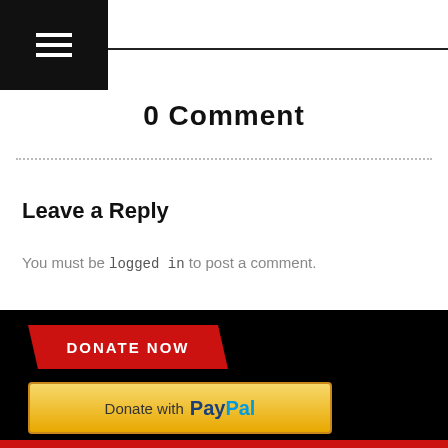≡ (hamburger menu icon)
0 Comment
Leave a Reply
You must be logged in to post a comment.
[Figure (other): DONATE NOW button — red parallelogram shape with white bold text 'DONATE NOW']
[Figure (other): Donate with PayPal button — gold gradient button with PayPal logo]